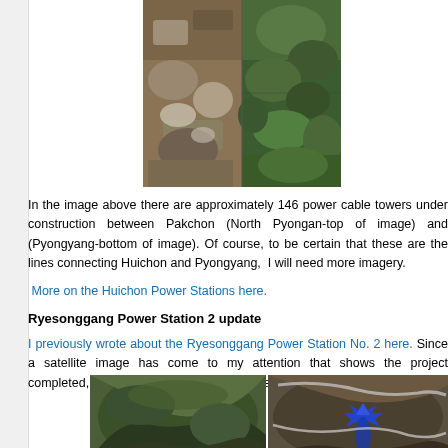[Figure (photo): Satellite aerial image showing power cable towers and terrain, split into panels showing areas between Pakchon and Pyongyang]
In the image above there are approximately 146 power cable towers under construction between Pakchon (North Pyongan-top of image) and (Pyongyang-bottom of image). Of course, to be certain that these are the lines connecting Huichon and Pyongyang, I will need more imagery.
More on the Huichon Power Stations here.
Ryesonggang Power Station 2 update
I previously wrote about the Ryesonggang Power Station No. 2 here. Since a satellite image has come to my attention that shows the project completed, I thought I would post an update.
[Figure (photo): Two satellite images of Ryesonggang Power Station No. 2, one showing terrain/valley and one showing a blue highlighted feature]